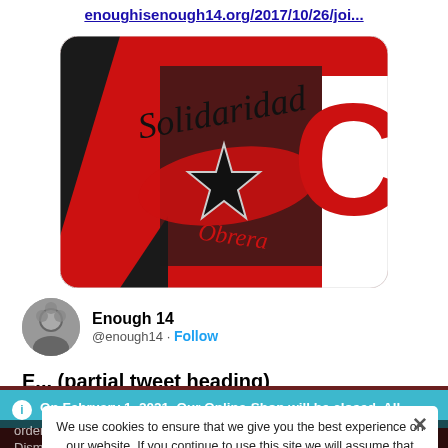enoughisenough14.org/2017/10/26/joi...
[Figure (screenshot): Screenshot of a social media post showing an image with 'Solidaridad Obrera' text and red/black design with a star, plus a partial letter C on the right side]
Enough 14 @enough14 · Follow
E... (partial tweet text cut off)
On February 1, 2021, Our Online-Shop will be closed. All orders until January 31 will be delivered
Dismiss
We use cookies to ensure that we give you the best experience on our website. If you continue to use this site we will assume that you are happy with it.
Ok